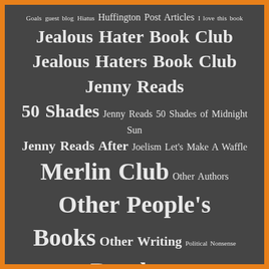[Figure (infographic): Tag cloud on dark gray background with orange border. Tags vary in size indicating frequency/importance. Tags include: Goals, guest blog, Hiatus, Huffington Post Articles, I love this book, Jealous Hater Book Club, Jealous Haters Book Club, Jenny Reads 50 Shades, Jenny Reads 50 Shades of Midnight Sun, Jenny Reads After, Joelism, Let's Make A Waffle, Merlin Club, Other Authors, Other People's Books, Other Writing, Political Nonsense, Random Silliness, State of The Trout, The Big Damn Buffy Rewatch, The Big Damn Writer Advice Column, The Business Centaur's Virgin Temp, The Mister, The Worst Person I've Ever Met, Trout Facts, Trout Nation TV, True Blood Tuesday, TW: mental illness, TW: suicide, Twitter Watch-Along, Writing advice, Wednesday Blogging]